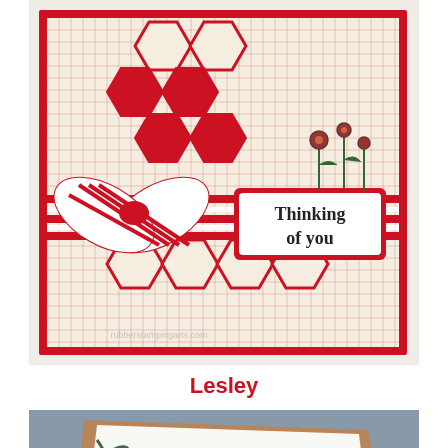[Figure (photo): Handmade greeting card with red hexagon die-cut pattern on grid paper background, red and white striped bow, and 'Thinking of you' sentiment label with small flower embellishments]
Lesley
[Figure (photo): Handmade card with colorful leaf/branch stamped design in red, green, and yellow on white cardstock mounted on kraft brown card base, photographed at an angle against a blue-grey background]